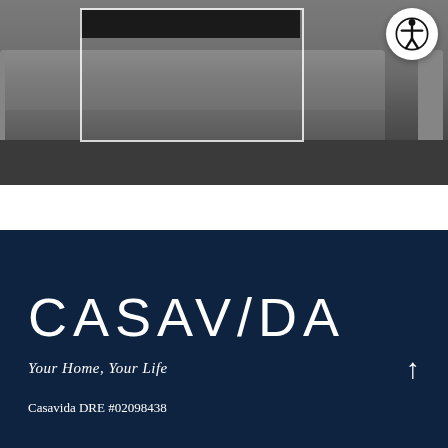[Figure (photo): Interior photo of a modern living room with a gray sofa/couch against a wall with what appears to be a dark fireplace or TV unit. A white rectangle overlay appears in the center of the image. An accessibility icon button is visible in the top-right corner.]
CASAVIDA
Your Home, Your Life
Casavida DRE #02098438